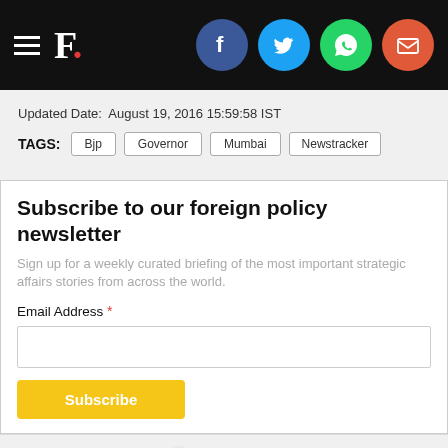F. [logo with social icons: Facebook, Twitter, WhatsApp, Email]
Updated Date:   August 19, 2016 15:59:58 IST
TAGS: Bjp | Governor | Mumbai | Newstracker
Subscribe to our foreign policy newsletter
Sign up for a weekly curated briefing of the most important strategic affairs stories from across the world.
Email Address *
MOST READ